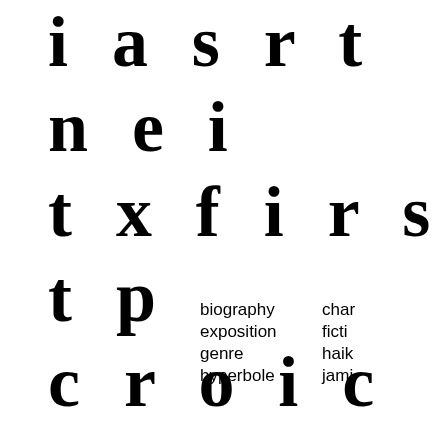i a s r t n e i
t x f i r s t p
c r o i c r a n
i n t b i o g r
f c h t m r a i
biography    char
exposition    ficti
genre    haik
hyperbole    jami